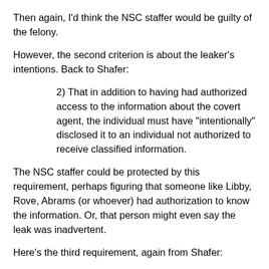Then again, I'd think the NSC staffer would be guilty of the felony.
However, the second criterion is about the leaker's intentions. Back to Shafer:
2) That in addition to having had authorized access to the information about the covert agent, the individual must have "intentionally" disclosed it to an individual not authorized to receive classified information.
The NSC staffer could be protected by this requirement, perhaps figuring that someone like Libby, Rove, Abrams (or whoever) had authorization to know the information. Or, that person might even say the leak was inadvertent.
Here's the third requirement, again from Shafer:
3) That the individual knew he was disclosing information that identifies a "covert agent and that the United States is taking affirmative measures